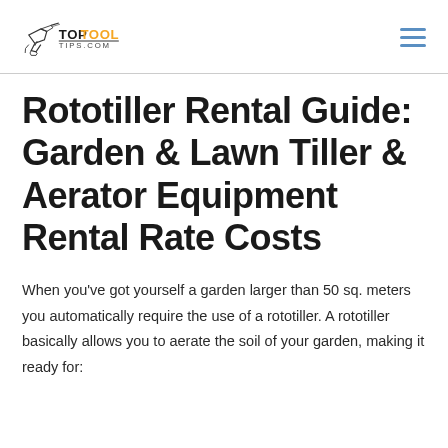TopToolTips.com
Rototiller Rental Guide: Garden & Lawn Tiller & Aerator Equipment Rental Rate Costs
When you've got yourself a garden larger than 50 sq. meters you automatically require the use of a rototiller. A rototiller basically allows you to aerate the soil of your garden, making it ready for: